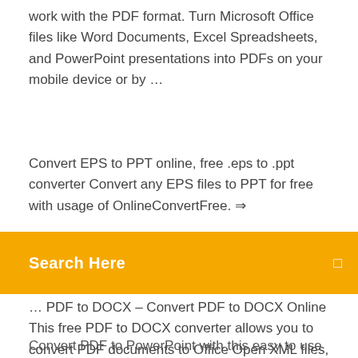work with the PDF format. Turn Microsoft Office files like Word Documents, Excel Spreadsheets, and PowerPoint presentations into PDFs on your mobile device or by …
Convert EPS to PPT online, free .eps to .ppt converter Convert any EPS files to PPT for free with usage of OnlineConvertFree. ⇒
[Figure (other): Orange search bar with white text 'Search Here' and a small search icon on the right]
… PDF to DOCX – Convert PDF to DOCX Online This free PDF to DOCX converter allows you to convert PDF documents to Office Open XML files, compatible will all major office software, providing the best possible quality of conversion. MPP to PDF - Convert PDF online The Portable Document Format (PDF) is a file format used to present documents in a manner independent of application software, hardware, and operating systems. Each PDF file encapsulates a …
Convert PDF to PowerPoint with this easy to use and fast PDF …